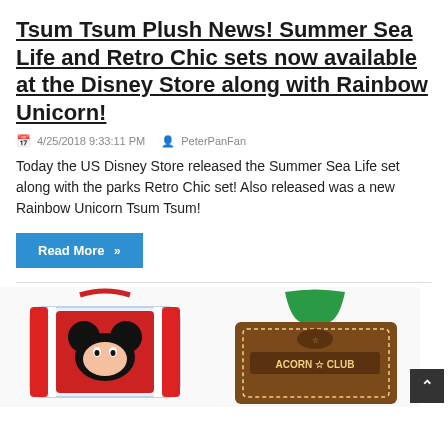Tsum Tsum Plush News! Summer Sea Life and Retro Chic sets now available at the Disney Store along with Rainbow Unicorn!
4/25/2018 9:33:11 PM   PeterPanFan
Today the US Disney Store released the Summer Sea Life set along with the parks Retro Chic set! Also released was a new Rainbow Unicorn Tsum Tsum!
Read More »
[Figure (photo): Left photo: Tsum Tsum plush set in a red and white striped carrier with Mickey Mouse design]
[Figure (photo): Right photo: Tsum Tsum plush set in an Acorn Club brown carrier with green strap]